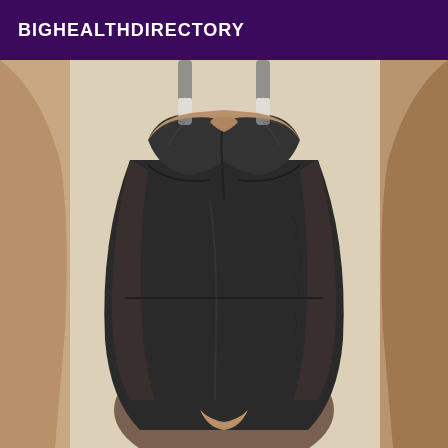BIGHEALTHDIRECTORY
[Figure (photo): A person wearing a black push-up bodysuit/lingerie with mesh side panels, photographed from the torso area.]